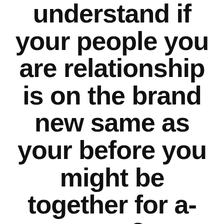understand if your people you are relationship is on the brand new same as your before you might be together for a-year?
By Warehouse  January 8, 2022  No Comments
Skip the outdated advice about to play it cool and go ahead and get these important relationships concerns prior to some thing will get also really serious. If you don't, you're going toward a romance completely blind